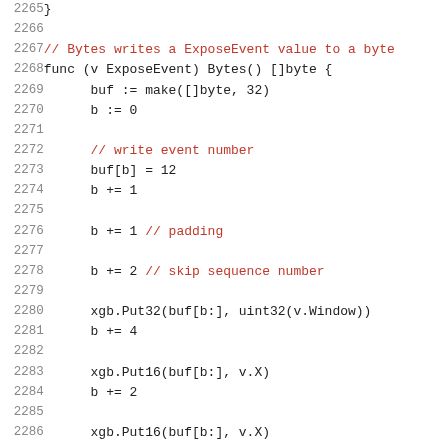2265  }
2266
2267  // Bytes writes a ExposeEvent value to a byte
2268  func (v ExposeEvent) Bytes() []byte {
2269        buf := make([]byte, 32)
2270        b := 0
2271
2272        // write event number
2273        buf[b] = 12
2274        b += 1
2275
2276        b += 1 // padding
2277
2278        b += 2 // skip sequence number
2279
2280        xgb.Put32(buf[b:], uint32(v.Window))
2281        b += 4
2282
2283        xgb.Put16(buf[b:], v.X)
2284        b += 2
2285
2286        xgb.Put16(buf[b:], v.X)